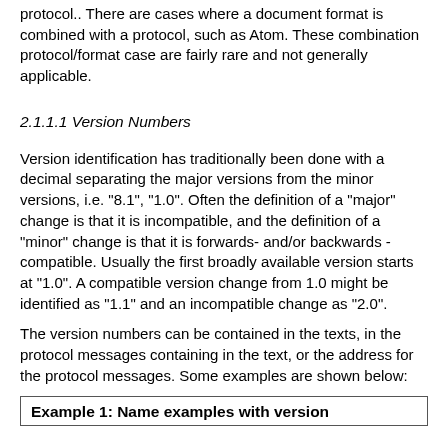protocol.. There are cases where a document format is combined with a protocol, such as Atom. These combination protocol/format case are fairly rare and not generally applicable.
2.1.1.1 Version Numbers
Version identification has traditionally been done with a decimal separating the major versions from the minor versions, i.e. "8.1", "1.0". Often the definition of a "major" change is that it is incompatible, and the definition of a "minor" change is that it is forwards- and/or backwards - compatible. Usually the first broadly available version starts at "1.0". A compatible version change from 1.0 might be identified as "1.1" and an incompatible change as "2.0".
The version numbers can be contained in the texts, in the protocol messages containing in the text, or the address for the protocol messages. Some examples are shown below:
Example 1: Name examples with version